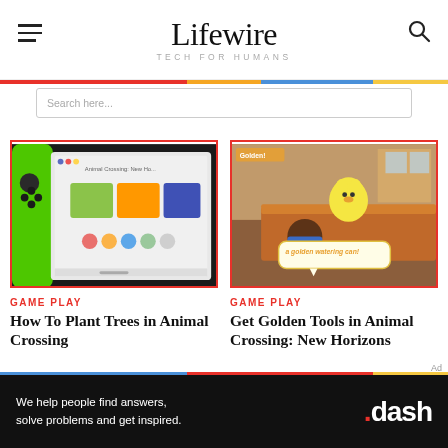Lifewire — TECH FOR HUMANS
[Figure (screenshot): Nintendo Switch screen showing Animal Crossing: New Horizons game selection screen]
GAME PLAY
How To Plant Trees in Animal Crossing
[Figure (screenshot): Animal Crossing: New Horizons gameplay showing character receiving a golden watering can from Isabelle]
GAME PLAY
Get Golden Tools in Animal Crossing: New Horizons
[Figure (screenshot): Ad banner: We help people find answers, solve problems and get inspired. .dash]